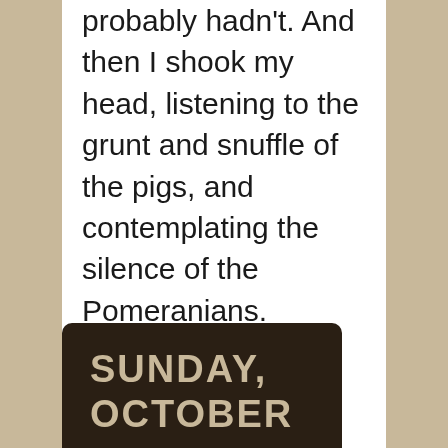probably hadn't. And then I shook my head, listening to the grunt and snuffle of the pigs, and contemplating the silence of the Pomeranians.
SUNDAY, OCTOBER